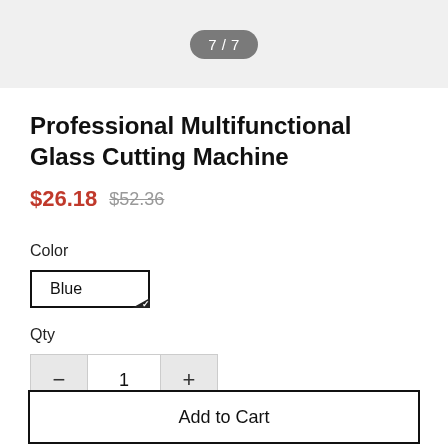7 / 7
Professional Multifunctional Glass Cutting Machine
$26.18  $52.36
Color
Blue
Qty
- 1 +
Add to Cart